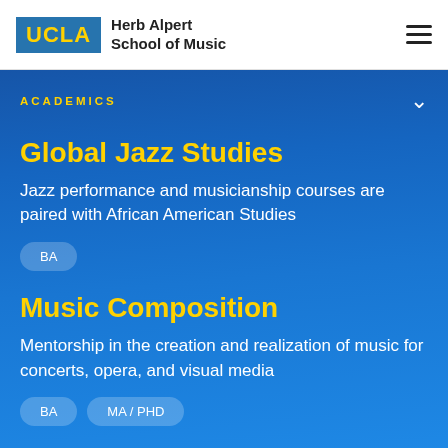UCLA Herb Alpert School of Music
ACADEMICS
Global Jazz Studies
Jazz performance and musicianship courses are paired with African American Studies
BA
Music Composition
Mentorship in the creation and realization of music for concerts, opera, and visual media
BA
MA / PHD